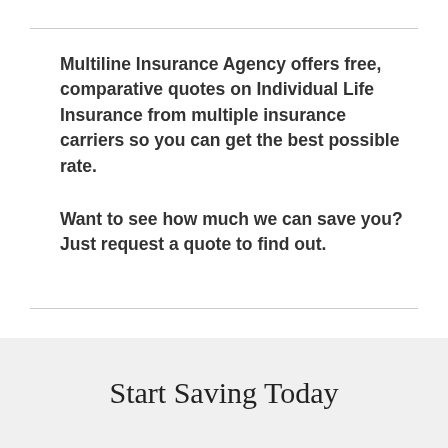Multiline Insurance Agency offers free, comparative quotes on Individual Life Insurance from multiple insurance carriers so you can get the best possible rate.
Want to see how much we can save you? Just request a quote to find out.
Start Saving Today